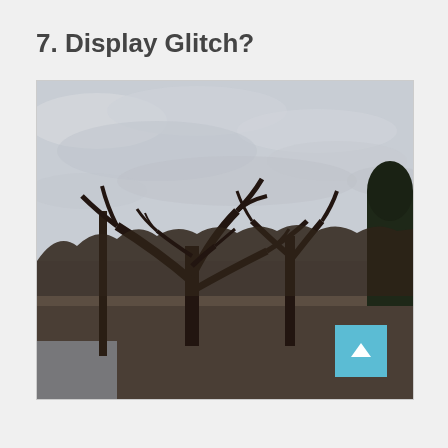7. Display Glitch?
[Figure (photo): Outdoor winter photograph showing bare deciduous trees with gnarled branches silhouetted against an overcast grey sky. Dense shrubs fill the lower portion. A body of water is faintly visible at bottom left. A scroll-to-top button (teal square with white upward arrow) overlays the bottom-right corner of the image.]